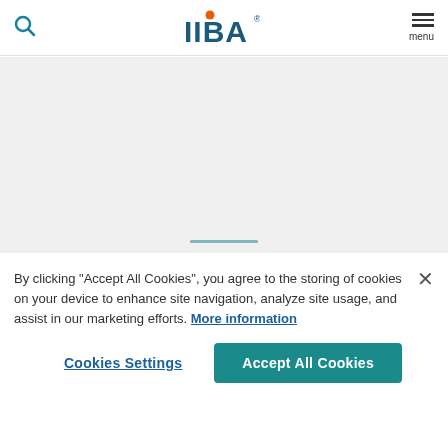IIBA logo, search icon, menu
[Figure (logo): IIBA logo with orange dot above two i's and blue text]
More Must Read Business Analysis
By clicking “Accept All Cookies”, you agree to the storing of cookies on your device to enhance site navigation, analyze site usage, and assist in our marketing efforts. More information
Cookies Settings | Accept All Cookies